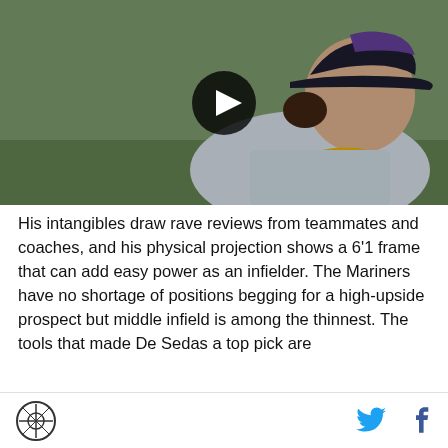[Figure (photo): Baseball player wearing a purple and black cap in side profile view, with a video play button overlay indicating a video thumbnail. Green field background.]
His intangibles draw rave reviews from teammates and coaches, and his physical projection shows a 6'1 frame that can add easy power as an infielder. The Mariners have no shortage of positions begging for a high-upside prospect but middle infield is among the thinnest. The tools that made De Sedas a top pick are still there, and like MY GUY 2.0 De...
SB Nation logo | Twitter icon | Facebook icon